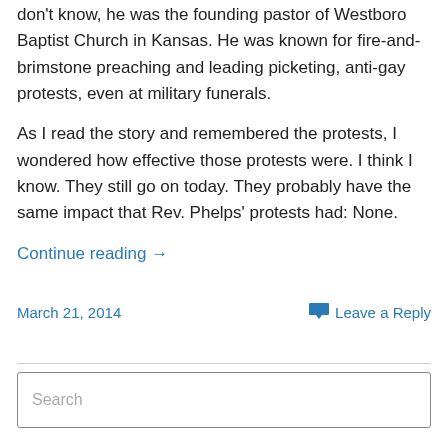don't know, he was the founding pastor of Westboro Baptist Church in Kansas. He was known for fire-and-brimstone preaching and leading picketing, anti-gay protests, even at military funerals.
As I read the story and remembered the protests, I wondered how effective those protests were. I think I know. They still go on today. They probably have the same impact that Rev. Phelps' protests had: None.
Continue reading →
March 21, 2014
Leave a Reply
Search